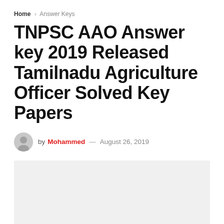Home › Answer Keys
TNPSC AAO Answer key 2019 Released Tamilnadu Agriculture Officer Solved Key Papers
by Mohammed — August 26, 2019
[Figure (photo): Light gray placeholder image block below the author line]